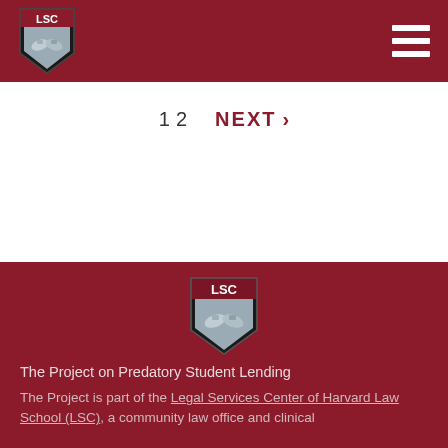LSC Legal Services Center - Header with logo and navigation menu
1  2    NEXT  >
[Figure (logo): LSC shield logo in footer area - Legal Services Center Harvard Law School crest with two hands shaking, 'LSC' lettering on dark red shield]
The Project on Predatory Student Lending
The Project is part of the Legal Services Center of Harvard Law School (LSC), a community law office and clinical